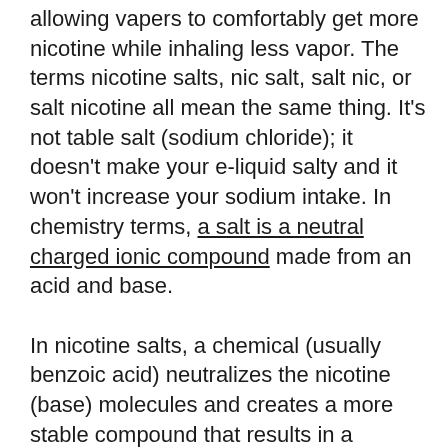allowing vapers to comfortably get more nicotine while inhaling less vapor. The terms nicotine salts, nic salt, salt nic, or salt nicotine all mean the same thing. It's not table salt (sodium chloride); it doesn't make your e-liquid salty and it won't increase your sodium intake. In chemistry terms, a salt is a neutral charged ionic compound made from an acid and base.

In nicotine salts, a chemical (usually benzoic acid) neutralizes the nicotine (base) molecules and creates a more stable compound that results in a nicotine that's